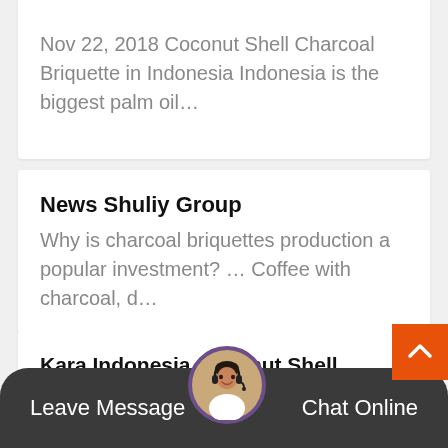Nov 22, 2018 Coconut Shell Charcoal Briquette in Indonesia Indonesia is the biggest palm oil…
News Shuliy Group
Why is charcoal briquettes production a popular investment? … Coffee with charcoal, d…
Kara Indonesia Coconut Shell Charcoal Briquette Home
May 29, 2017 Kara Indonesia Coconut Shell Charcoal Briquette. 94 likes. # We produce 10
Leave Message
Chat Online